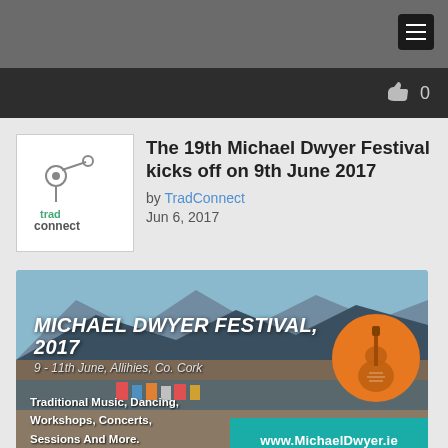Navigation bar with hamburger menu icon
[Figure (screenshot): Dark toolbar with thumbs up icon and count 0]
The 19th Michael Dwyer Festival kicks off on 9th June 2017
by TradConnect
Jun 6, 2017
[Figure (photo): Michael Dwyer Festival 2017 promotional banner showing mountainous coastal landscape with text: MICHAEL DWYER FESTIVAL, 2017, 9-11th June, Allihies, Co. Cork, Traditional Music, Dancing, Workshops, Concerts, Sessions and more. www.MichaelDwyer.ie]
2017 marks the 19th Michael Dwyer Festival and the 20th anniversary of Michael's death. Michael was a talented performer, composer and much loved member of the local community. He was one of the highly gifted